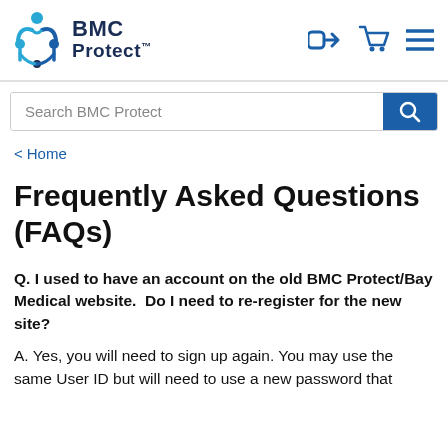[Figure (logo): BMC Protect logo with teal figure icon and dark blue BMC Protect text, plus navigation icons (sign-in arrow, shopping cart, hamburger menu)]
Search BMC Protect
< Home
Frequently Asked Questions (FAQs)
Q. I used to have an account on the old BMC Protect/Bay Medical website.  Do I need to re-register for the new site?
A. Yes, you will need to sign up again. You may use the same User ID but will need to use a new password that